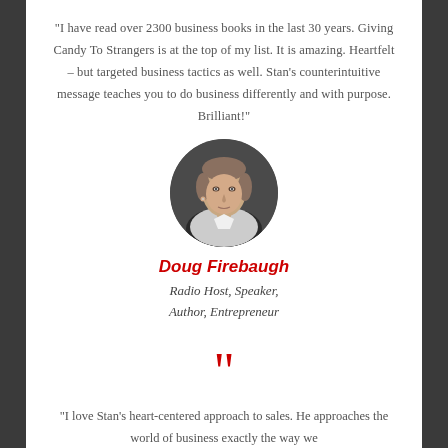“I have read over 2300 business books in the last 30 years. Giving Candy To Strangers is at the top of my list. It is amazing. Heartfelt – but targeted business tactics as well. Stan’s counterintuitive message teaches you to do business differently and with purpose. Brilliant!”
[Figure (photo): Circular portrait photo of Doug Firebaugh, a middle-aged man in a white jacket with a microphone, on a dark stage background.]
Doug Firebaugh
Radio Host, Speaker, Author, Entrepreneur
“I love Stan’s heart-centered approach to sales. He approaches the world of business exactly the way we